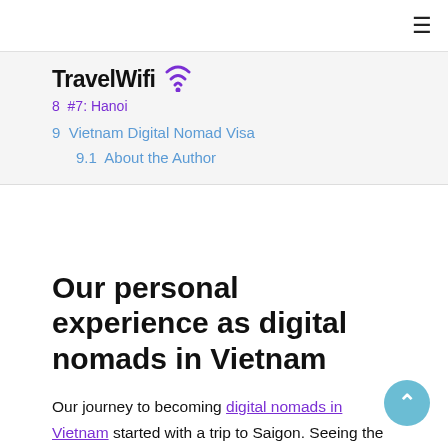≡
[Figure (logo): TravelWifi logo with wifi signal icon]
8  #7: Hanoi
9  Vietnam Digital Nomad Visa
9.1  About the Author
Our personal experience as digital nomads in Vietnam
Our journey to becoming digital nomads in Vietnam started with a trip to Saigon. Seeing the way people lived and how different that was from what we knew, was a culture shock but in a good way.